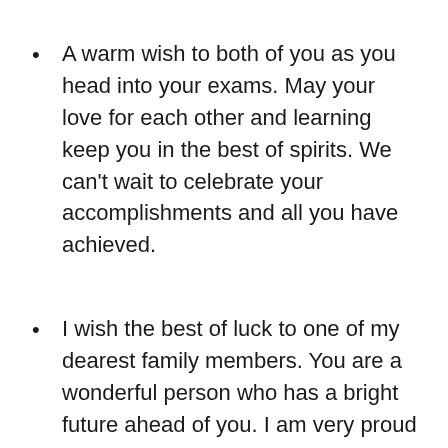A warm wish to both of you as you head into your exams. May your love for each other and learning keep you in the best of spirits. We can't wait to celebrate your accomplishments and all you have achieved.
I wish the best of luck to one of my dearest family members. You are a wonderful person who has a bright future ahead of you. I am very proud of you and may God bless you; to My lovely nephew and niece on your